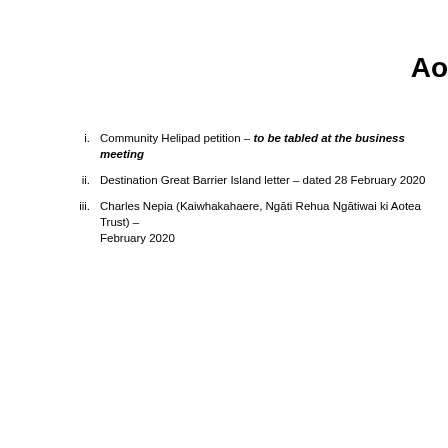Ao
Community Helipad petition – to be tabled at the business meeting
Destination Great Barrier Island letter – dated 28 February 2020
Charles Nepia (Kaiwhakahaere, Ngāti Rehua Ngātiwai ki Aotea Trust) – February 2020